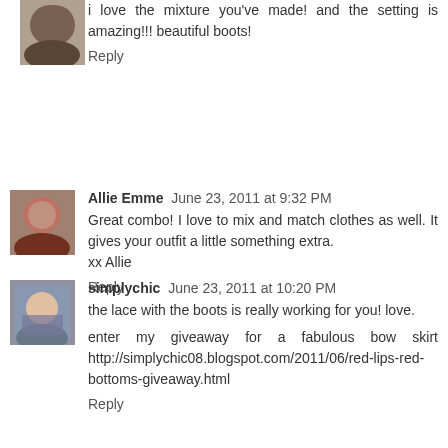i love the mixture you've made! and the setting is amazing!!! beautiful boots!
Reply
Allie Emme  June 23, 2011 at 9:32 PM
Great combo! I love to mix and match clothes as well. It gives your outfit a little something extra.
xx Allie
Reply
simplychic  June 23, 2011 at 10:20 PM
the lace with the boots is really working for you! love.
enter my giveaway for a fabulous bow skirt http://simplychic08.blogspot.com/2011/06/red-lips-red-bottoms-giveaway.html
Reply